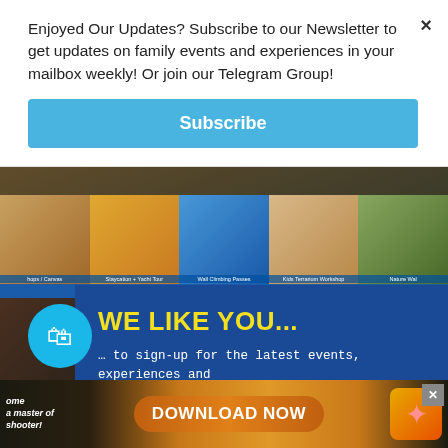Enjoyed Our Updates? Subscribe to our Newsletter to get updates on family events and experiences in your mailbox weekly! Or join our Telegram Group!
Subscribe
[Figure (photo): Five photo thumbnails in a horizontal strip: Arts/Canvas, Staycation + Yacht Tour, Wall Climbing Passes, Kids Terrarium Workshop, Nature Walk]
WE LIKE YOU...
... to sign-up for the latest events, experiences and promotions sent directly to your mailbox - weekly!
LET'S GO!
NOT YET
[Figure (screenshot): Bottom ad banner with DOWNLOAD NOW button and game screenshot]